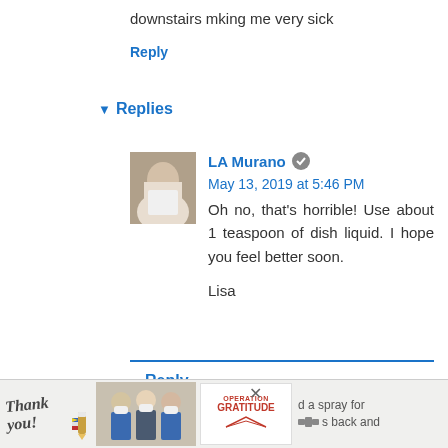downstairs mking me very sick
Reply
▾ Replies
LA Murano ✎ May 13, 2019 at 5:46 PM
Oh no, that's horrible! Use about 1 teaspoon of dish liquid. I hope you feel better soon.

Lisa
Reply
Yasmin February 24, 2019 at 8:02 PM
I have a male cat that will be 1 year soon and he has been peeing around the house but he also uses the litter b... n not sure exactly why since this is my first cat and he just
[Figure (photo): Advertisement banner with 'Thank you!' text, image of people with masks, Operation Gratitude logo, and partial text on right side. Heart button (332 likes) and share button visible on right side.]